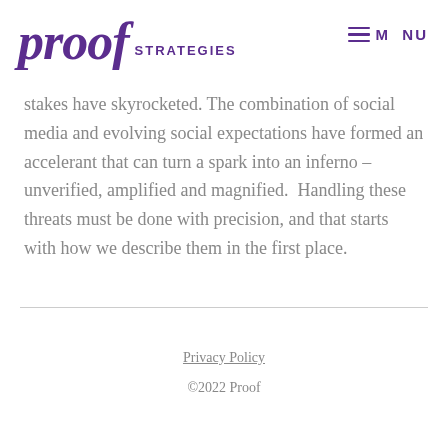proof STRATEGIES   MENU
stakes have skyrocketed. The combination of social media and evolving social expectations have formed an accelerant that can turn a spark into an inferno – unverified, amplified and magnified.  Handling these threats must be done with precision, and that starts with how we describe them in the first place.
Privacy Policy
©2022 Proof